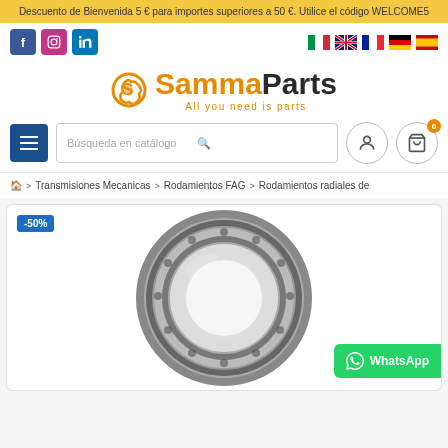Descuento de Bienvenida 5 € para importes superiores a 50 €. Utilice el código WELCOME5
[Figure (logo): SammaParts logo with orange gear icon and tagline 'All you need is parts']
Búsqueda en catálogo
🏠 > Transmisiones Mecanicas > Rodamientos FAG > Rodamientos radiales de
[Figure (photo): Tapered roller bearing (rodamiento) with -50% discount badge, gray metallic ring bearing shown front view]